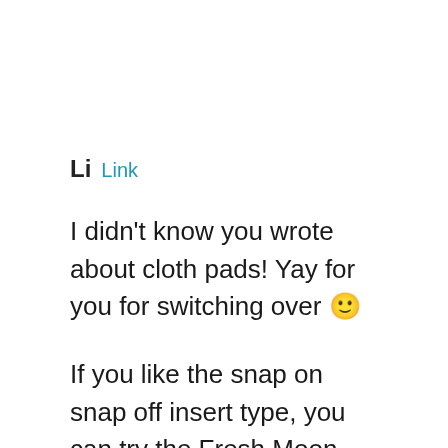Li  Link
I didn't know you wrote about cloth pads! Yay for you for switching over 🙂
If you like the snap on snap off insert type, you can try the Fresh Moon system, I actually like the shape better than Amaz pads and personally i think it's better made… although amaz comes in pretty prints and Fresh Moon is just plain color (unbleached organic